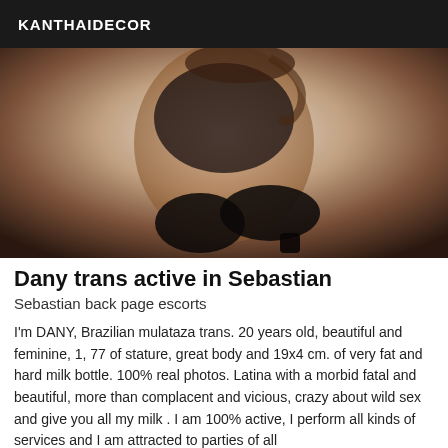KANTHAIDECOR
[Figure (photo): A person posing in black lace lingerie and stockings with high heels, kneeling on a white background]
Dany trans active in Sebastian
Sebastian back page escorts
I'm DANY, Brazilian mulataza trans. 20 years old, beautiful and feminine, 1, 77 of stature, great body and 19x4 cm. of very fat and hard milk bottle. 100% real photos. Latina with a morbid fatal and beautiful, more than complacent and vicious, crazy about wild sex and give you all my milk . I am 100% active, I perform all kinds of services and I am attracted to parties of all